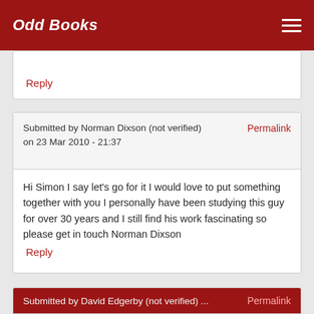Odd Books
Reply
Submitted by Norman Dixson (not verified) on 23 Mar 2010 - 21:37
Permalink
Hi Simon I say let's go for it I would love to put something together with you I personally have been studying this guy for over 30 years and I still find his work fascinating so please get in touch Norman Dixson
Reply
Submitted by David Edgerby (not verified)
Permalink